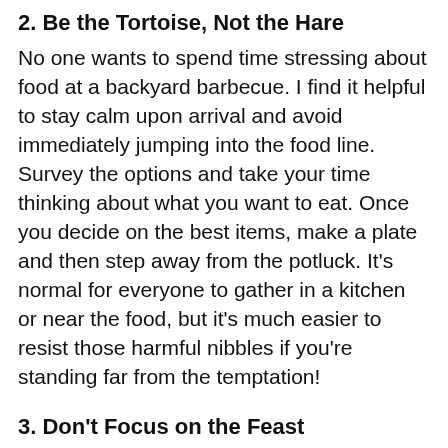2. Be the Tortoise, Not the Hare
No one wants to spend time stressing about food at a backyard barbecue. I find it helpful to stay calm upon arrival and avoid immediately jumping into the food line. Survey the options and take your time thinking about what you want to eat. Once you decide on the best items, make a plate and then step away from the potluck. It's normal for everyone to gather in a kitchen or near the food, but it's much easier to resist those harmful nibbles if you're standing far from the temptation!
3. Don't Focus on the Feast
We tend to place a lot of value on food and its connection to the holidays, but the truth is your family and friends are what is most important. Good